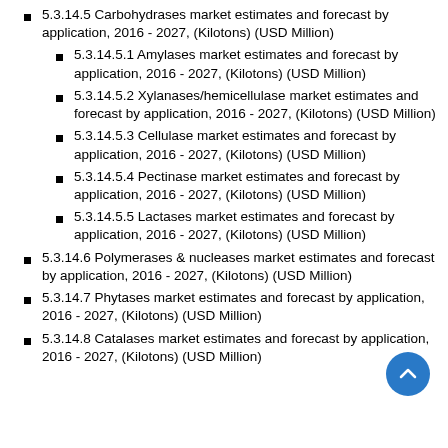5.3.14.5 Carbohydrases market estimates and forecast by application, 2016 - 2027, (Kilotons) (USD Million)
5.3.14.5.1 Amylases market estimates and forecast by application, 2016 - 2027, (Kilotons) (USD Million)
5.3.14.5.2 Xylanases/hemicellulase market estimates and forecast by application, 2016 - 2027, (Kilotons) (USD Million)
5.3.14.5.3 Cellulase market estimates and forecast by application, 2016 - 2027, (Kilotons) (USD Million)
5.3.14.5.4 Pectinase market estimates and forecast by application, 2016 - 2027, (Kilotons) (USD Million)
5.3.14.5.5 Lactases market estimates and forecast by application, 2016 - 2027, (Kilotons) (USD Million)
5.3.14.6 Polymerases & nucleases market estimates and forecast by application, 2016 - 2027, (Kilotons) (USD Million)
5.3.14.7 Phytases market estimates and forecast by application, 2016 - 2027, (Kilotons) (USD Million)
5.3.14.8 Catalases market estimates and forecast by application, 2016 - 2027, (Kilotons) (USD Million)